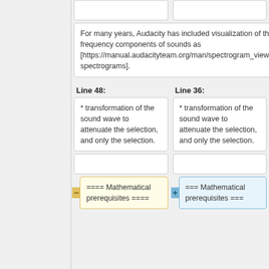For many years, Audacity has included visualization of the frequency components of sounds as [https://manual.audacityteam.org/man/spectrogram_view.html spectrograms].
For many years, Audacity has included visualization of the frequency components of sounds as [https://manual.audacityteam.org/man/spectrogram_view.html spectrograms].
Line 48:
Line 36:
* transformation of the sound wave to attenuate the selection, and only the selection.
* transformation of the sound wave to attenuate the selection, and only the selection.
==== Mathematical prerequisites ====
=== Mathematical prerequisites ===